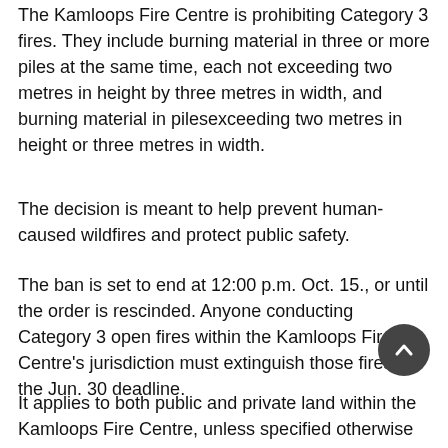The Kamloops Fire Centre is prohibiting Category 3 fires. They include burning material in three or more piles at the same time, each not exceeding two metres in height by three metres in width, and burning material in pilesexceeding two metres in height or three metres in width.
The decision is meant to help prevent human-caused wildfires and protect public safety.
The ban is set to end at 12:00 p.m. Oct. 15., or until the order is rescinded. Anyone conducting Category 3 open fires within the Kamloops Fire Centre's jurisdiction must extinguish those fires by the Jun. 30 deadline.
It applies to both public and private land within the Kamloops Fire Centre, unless specified otherwise in local